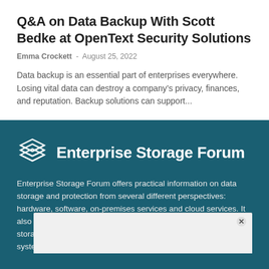Q&A on Data Backup With Scott Bedke at OpenText Security Solutions
Emma Crockett  -  August 25, 2022
Data backup is an essential part of enterprises everywhere. Losing vital data can destroy a company's privacy, finances, and reputation. Backup solutions can support...
[Figure (logo): Enterprise Storage Forum logo with stacked layered icon and white text on teal background]
Enterprise Storage Forum offers practical information on data storage and protection from several different perspectives: hardware, software, on-premises services and cloud services. It also includes storage security and deep looks into various storage technologies, including file systems. [...] admins, IT...